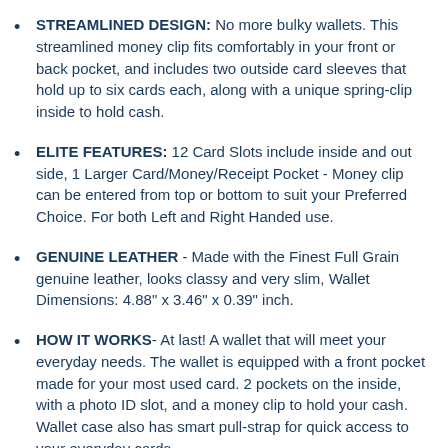STREAMLINED DESIGN: No more bulky wallets. This streamlined money clip fits comfortably in your front or back pocket, and includes two outside card sleeves that hold up to six cards each, along with a unique spring-clip inside to hold cash.
ELITE FEATURES: 12 Card Slots include inside and out side, 1 Larger Card/Money/Receipt Pocket - Money clip can be entered from top or bottom to suit your Preferred Choice. For both Left and Right Handed use.
GENUINE LEATHER - Made with the Finest Full Grain genuine leather, looks classy and very slim, Wallet Dimensions: 4.88" x 3.46" x 0.39" inch.
HOW IT WORKS- At last! A wallet that will meet your everyday needs. The wallet is equipped with a front pocket made for your most used card. 2 pockets on the inside, with a photo ID slot, and a money clip to hold your cash. Wallet case also has smart pull-strap for quick access to your everyday cards.